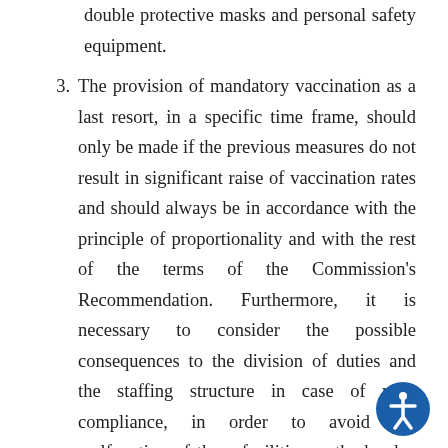double protective masks and personal safety equipment.
3. The provision of mandatory vaccination as a last resort, in a specific time frame, should only be made if the previous measures do not result in significant raise of vaccination rates and should always be in accordance with the principle of proportionality and with the rest of the terms of the Commission's Recommendation. Furthermore, it is necessary to consider the possible consequences to the division of duties and the staffing structure in case of non-compliance, in order to avoid the malfunction of these facilities or the burden caused by extra work for the rest of the staff.